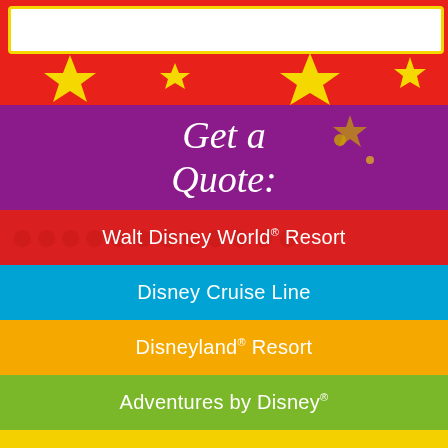[Figure (screenshot): Disney travel booking interface with colored horizontal bands. Top red banner with yellow stars and white input box. Purple band with cursive 'Get a Quote:' text. Five colored bands for Walt Disney World Resort (red), Disney Cruise Line (blue), Disneyland Resort (orange), Adventures by Disney (green), Aulani A Disney Resort & Spa (yellow).]
Walt Disney World ® Resort
Disney Cruise Line
Disneyland ® Resort
Adventures by Disney ®
Aulani, A Disney ® Resort & Spa